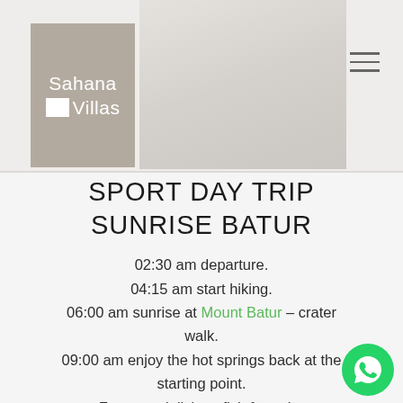Sahana Villas logo and navigation header
[Figure (logo): Sahana Villas logo — grey square with white text 'Sahana' above and white square icon beside 'Villas']
SPORT DAY TRIP SUNRISE BATUR
02:30 am departure.
04:15 am start hiking.
06:00 am sunrise at Mount Batur – crater walk.
09:00 am enjoy the hot springs back at the starting point.
Feast on delicious fish from the
[Figure (logo): WhatsApp green circle button with phone icon in bottom right corner]